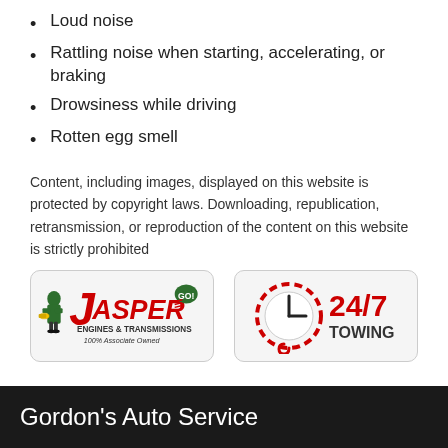Loud noise
Rattling noise when starting, accelerating, or braking
Drowsiness while driving
Rotten egg smell
Content, including images, displayed on this website is protected by copyright laws. Downloading, republication, retransmission, or reproduction of the content on this website is strictly prohibited
[Figure (logo): Jasper Engines & Transmissions — 100% Associate Owned logo]
[Figure (logo): 24/7 Towing logo with clock and chain icon]
Gordon's Auto Service